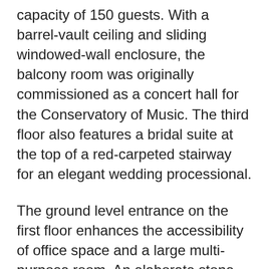capacity of 150 guests. With a barrel-vault ceiling and sliding windowed-wall enclosure, the balcony room was originally commissioned as a concert hall for the Conservatory of Music. The third floor also features a bridal suite at the top of a red-carpeted stairway for an elegant wedding processional.
The ground level entrance on the first floor enhances the accessibility of office space and a large multi-purpose room. An elaborate stone fireplace provides an impressive backdrop for receptions and assemblies in the multi-purpose room. The first floor